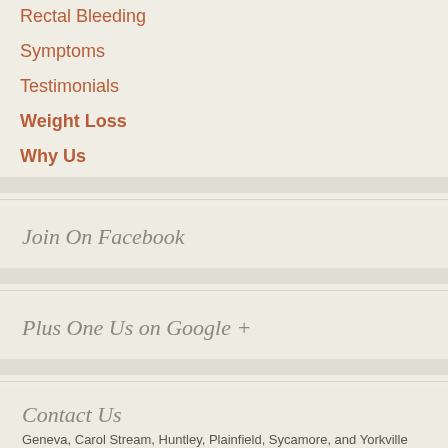Rectal Bleeding
Symptoms
Testimonials
Weight Loss
Why Us
Join On Facebook
Plus One Us on Google +
Contact Us
Geneva, Carol Stream, Huntley, Plainfield, Sycamore, and Yorkville